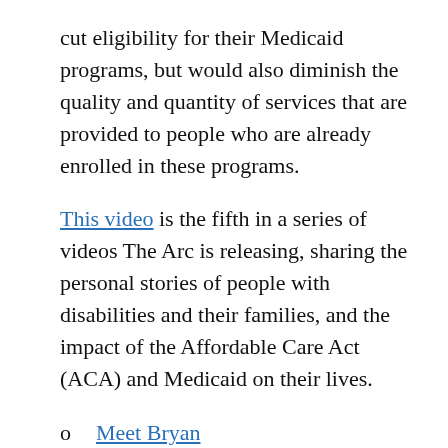cut eligibility for their Medicaid programs, but would also diminish the quality and quantity of services that are provided to people who are already enrolled in these programs.
This video is the fifth in a series of videos The Arc is releasing, sharing the personal stories of people with disabilities and their families, and the impact of the Affordable Care Act (ACA) and Medicaid on their lives.
Meet Bryan
Meet Thelma
Calvin's Story